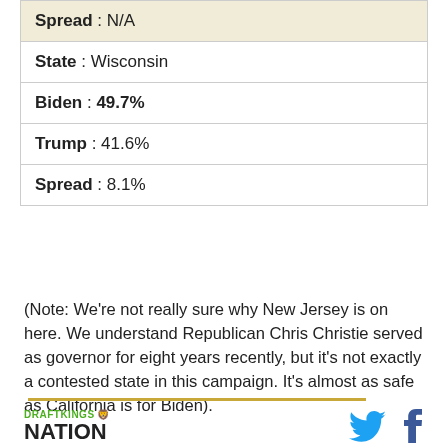| Spread : N/A |
| State : Wisconsin |
| Biden : 49.7% |
| Trump : 41.6% |
| Spread : 8.1% |
(Note: We're not really sure why New Jersey is on here. We understand Republican Chris Christie served as governor for eight years recently, but it's not exactly a contested state in this campaign. It's almost as safe as California is for Biden).
DRAFTKINGS NATION